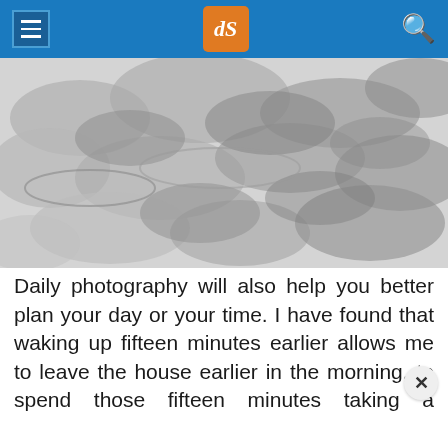dPS navigation header
[Figure (photo): Abstract grayscale image of overlapping oval/ellipse shapes on a light background]
Daily photography will also help you better plan your day or your time. I have found that waking up fifteen minutes earlier allows me to leave the house earlier in the morning, to spend those fifteen minutes taking a photography break